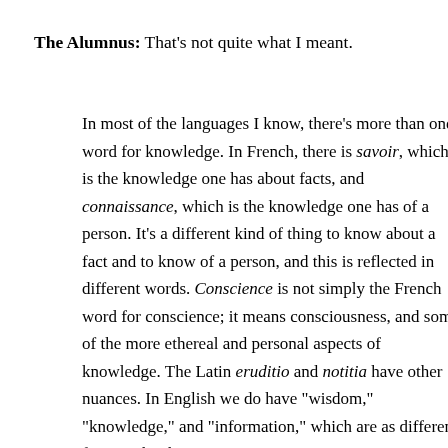The Alumnus: That's not quite what I meant.
In most of the languages I know, there's more than one word for knowledge. In French, there is savoir, which is the knowledge one has about facts, and connaissance, which is the knowledge one has of a person. It's a different kind of thing to know about a fact and to know of a person, and this is reflected in different words. Conscience is not simply the French word for conscience; it means consciousness, and some of the more ethereal and personal aspects of knowledge. The Latin eruditio and notitia have other nuances. In English we do have "wisdom," "knowledge," and "information," which are as different from each other...